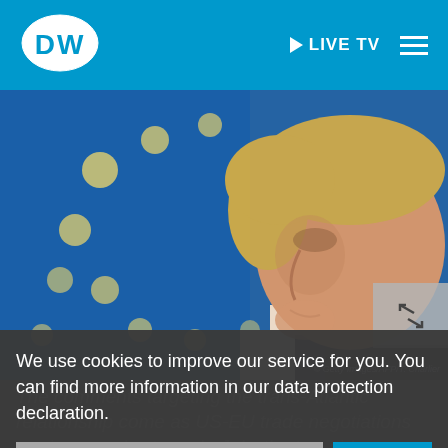DW LIVE TV [navigation bar]
[Figure (photo): Man in profile view (side-facing) with blond/grey hair against a blue EU flag background with yellow stars. Photo credit: Getty Images/AFP/T. Charlier]
© Getty Images/AFP/T. Charlier
We use cookies to improve our service for you. You can find more information in our data protection declaration.
The comments targeting the trans-Atlantic relationship come as US-EU trade negotiations are in an early stage. In July, the two sides agreed ... brewing trade fight.